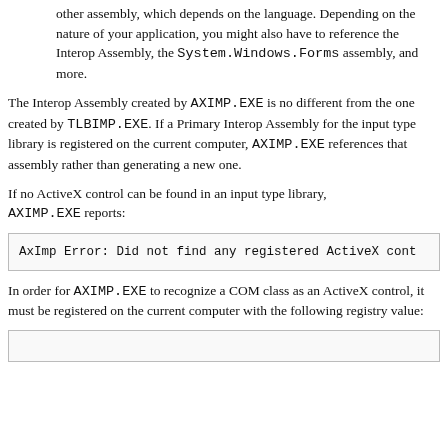other assembly, which depends on the language. Depending on the nature of your application, you might also have to reference the Interop Assembly, the System.Windows.Forms assembly, and more.
The Interop Assembly created by AXIMP.EXE is no different from the one created by TLBIMP.EXE. If a Primary Interop Assembly for the input type library is registered on the current computer, AXIMP.EXE references that assembly rather than generating a new one.
If no ActiveX control can be found in an input type library, AXIMP.EXE reports:
AxImp Error: Did not find any registered ActiveX cont
In order for AXIMP.EXE to recognize a COM class as an ActiveX control, it must be registered on the current computer with the following registry value: